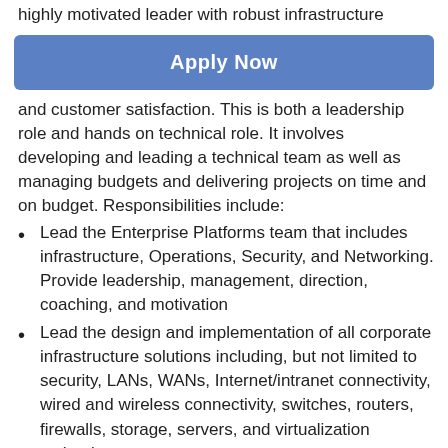highly motivated leader with robust infrastructure
[Figure (other): Apply Now button — a blue rounded rectangle with white bold text 'Apply Now']
and customer satisfaction. This is both a leadership role and hands on technical role. It involves developing and leading a technical team as well as managing budgets and delivering projects on time and on budget. Responsibilities include:
Lead the Enterprise Platforms team that includes infrastructure, Operations, Security, and Networking. Provide leadership, management, direction, coaching, and motivation
Lead the design and implementation of all corporate infrastructure solutions including, but not limited to security, LANs, WANs, Internet/intranet connectivity, wired and wireless connectivity, switches, routers, firewalls, storage, servers, and virtualization technology
Manage the corporate Unified Communications